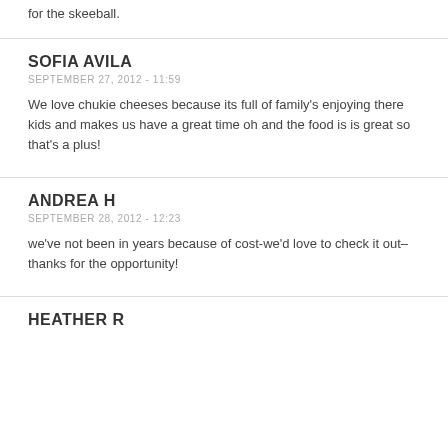for the skeeball.
SOFIA AVILA
SEPTEMBER 27, 2012 - 11:59
We love chukie cheeses because its full of family's enjoying there kids and makes us have a great time oh and the food is is great so that's a plus!
ANDREA H
SEPTEMBER 28, 2012 - 12:23
we've not been in years because of cost-we'd love to check it out–thanks for the opportunity!
HEATHER R